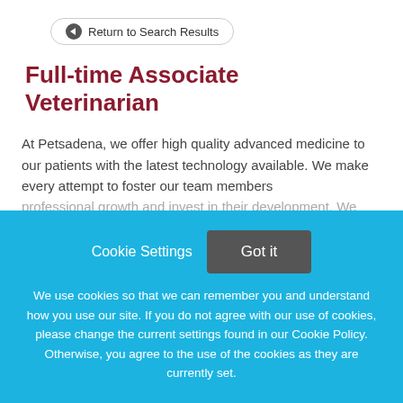← Return to Search Results
Full-time Associate Veterinarian
At Petsadena, we offer high quality advanced medicine to our patients with the latest technology available. We make every attempt to foster our team members professional growth and invest in their development. We
This job listing is no longer active.
Cookie Settings
Got it
We use cookies so that we can remember you and understand how you use our site. If you do not agree with our use of cookies, please change the current settings found in our Cookie Policy. Otherwise, you agree to the use of the cookies as they are currently set.